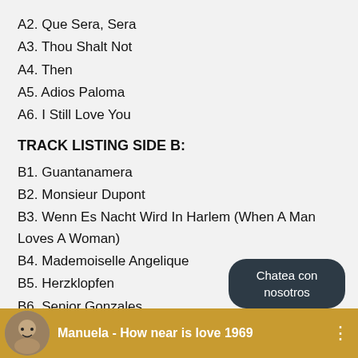A2. Que Sera, Sera
A3. Thou Shalt Not
A4. Then
A5. Adios Paloma
A6. I Still Love You
TRACK LISTING SIDE B:
B1. Guantanamera
B2. Monsieur Dupont
B3. Wenn Es Nacht Wird In Harlem (When A Man Loves A Woman)
B4. Mademoiselle Angelique
B5. Herzklopfen
B6. Senior Gonzales
[Figure (screenshot): Chat bubble saying 'Chatea con nosotros' and a video bar showing a thumbnail of a woman and text 'Manuela - How near is love 1969']